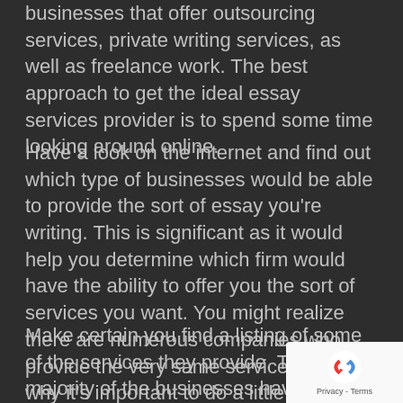businesses that offer outsourcing services, private writing services, as well as freelance work. The best approach to get the ideal essay services provider is to spend some time looking around online.
Have a look on the internet and find out which type of businesses would be able to provide the sort of essay you're writing. This is significant as it would help you determine which firm would have the ability to offer you the sort of services you want. You might realize there are numerous companies who provide the very same services. This is why it's important to do a little bit of research before deciding on the best firm to use.
Make certain you find a listing of some of the services they provide. The majority of the businesses have exactly the same types of ser... but some of them may have some specialised
[Figure (logo): reCAPTCHA badge with logo and Privacy - Terms text]